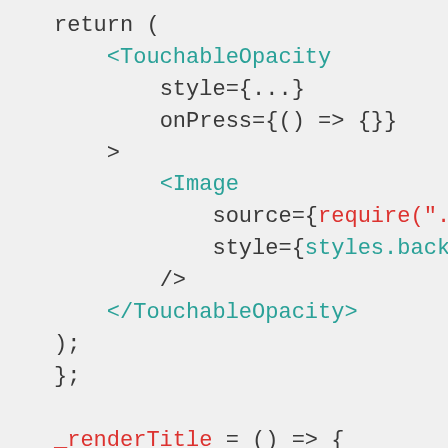return (
    <TouchableOpacity
        style={...}
        onPress={() => {}}
    >
        <Image
            source={require("./img/clos
            style={styles.backButtonIco
        />
    </TouchableOpacity>
);
};

_renderTitle = () => {
  return (
    <Text numberOfLines={1}>